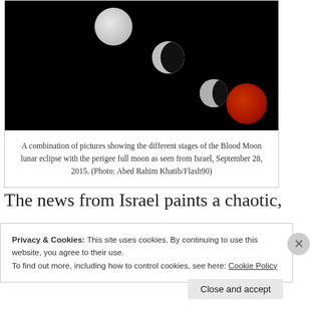[Figure (photo): A combination photograph showing multiple phases of a Blood Moon lunar eclipse against a black background, with the final phase showing a deep red moon at lower right.]
A combination of pictures showing the different stages of the Blood Moon lunar eclipse with the perigee full moon as seen from Israel, September 28, 2015. (Photo: Abed Rahim Khatib/Flash90)
The news from Israel paints a chaotic,
Privacy & Cookies: This site uses cookies. By continuing to use this website, you agree to their use.
To find out more, including how to control cookies, see here: Cookie Policy
Close and accept